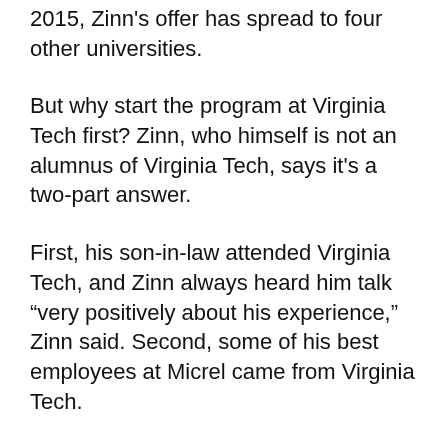2015, Zinn's offer has spread to four other universities.
But why start the program at Virginia Tech first? Zinn, who himself is not an alumnus of Virginia Tech, says it's a two-part answer.
First, his son-in-law attended Virginia Tech, and Zinn always heard him talk “very positively about his experience,” Zinn said. Second, some of his best employees at Micrel came from Virginia Tech.
“I had so many great employees that came